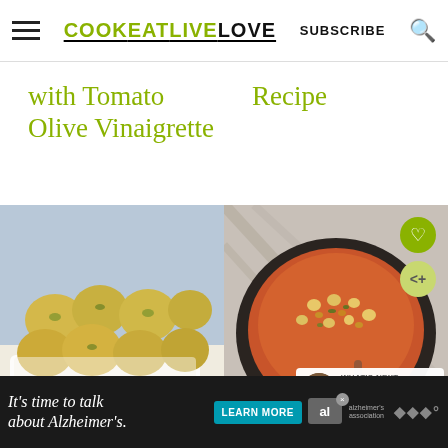COOKEATLIVELOVE | SUBSCRIBE
with Tomato Olive Vinaigrette
Recipe
[Figure (photo): Plate of golden herb-coated meatballs or cauliflower bites with greens, white rectangular dish, blue background. Watermark: COOK EAT LIVE LOVE]
[Figure (photo): Bowl of orange-red chickpea soup/stew with peanuts and herbs, dark bowl on patterned cloth. Heart and share buttons visible. What's Next: The Best Peruvian... Watermark: COOK EAT LIVE LOVE]
WHAT'S NEXT → The Best Peruvian...
It's time to talk about Alzheimer's. LEARN MORE